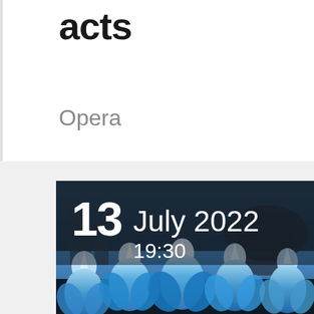acts
Opera
[Figure (photo): Opera performance photo showing performers in blue costumes with white headdresses, with a date overlay showing '13 July 2022 19:30']